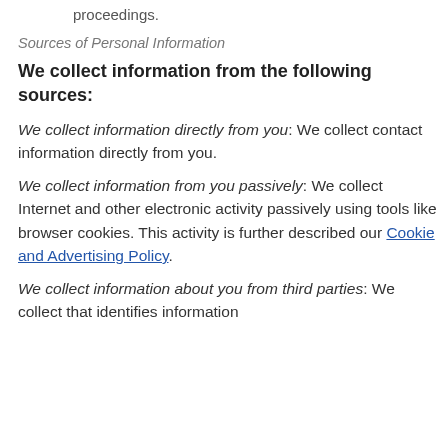proceedings.
Sources of Personal Information
We collect information from the following sources:
We collect information directly from you: We collect contact information directly from you.
We collect information from you passively: We collect Internet and other electronic activity passively using tools like browser cookies. This activity is further described our Cookie and Advertising Policy.
We collect information about you from third parties: We collect that identifies information